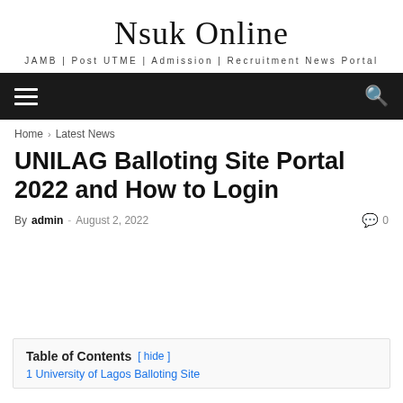Nsuk Online
JAMB | Post UTME | Admission | Recruitment News Portal
UNILAG Balloting Site Portal 2022 and How to Login
By admin - August 2, 2022  0
Table of Contents [ hide ]
1 University of Lagos Balloting Site